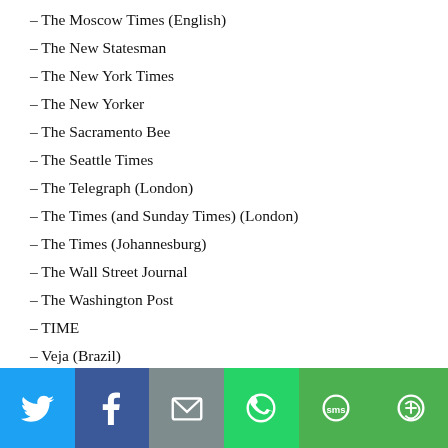– The Moscow Times (English)
– The New Statesman
– The New York Times
– The New Yorker
– The Sacramento Bee
– The Seattle Times
– The Telegraph (London)
– The Times (and Sunday Times) (London)
– The Times (Johannesburg)
– The Wall Street Journal
– The Washington Post
– TIME
– Veja (Brazil)
– Voice of America
– Xinhuanet (China) (English)
[Figure (infographic): Social sharing footer bar with icons for Twitter (blue), Facebook (dark blue), Email (gray), WhatsApp (green), SMS (green), and More (green)]